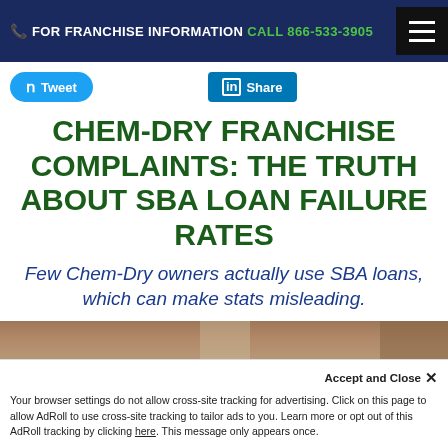FOR FRANCHISE INFORMATION CALL 866-533-3905
Tweet
Share
CHEM-DRY FRANCHISE COMPLAINTS: THE TRUTH ABOUT SBA LOAN FAILURE RATES
Few Chem-Dry owners actually use SBA loans, which can make stats misleading.
[Figure (photo): Partial photo strip at bottom of main content area]
Accept and Close ✕
Your browser settings do not allow cross-site tracking for advertising. Click on this page to allow AdRoll to use cross-site tracking to tailor ads to you. Learn more or opt out of this AdRoll tracking by clicking here. This message only appears once.